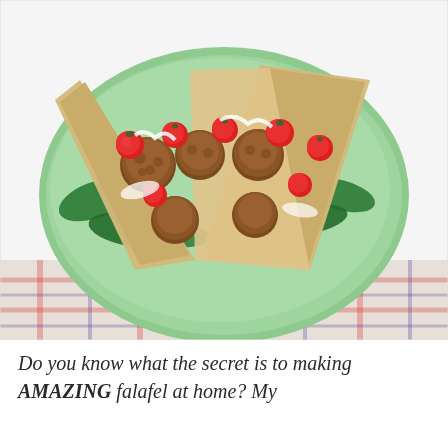[Figure (photo): A food photograph showing falafel pita sandwiches on a mint green plate. The pita sandwiches are open-faced and filled with fried falafel balls, fresh cherry tomatoes, spinach leaves, and white sauce (likely tzatziki). The plate sits on a colorful plaid/patchwork fabric tablecloth. The image has a bright, airy style.]
Do you know what the secret is to making AMAZING falafel at home? My